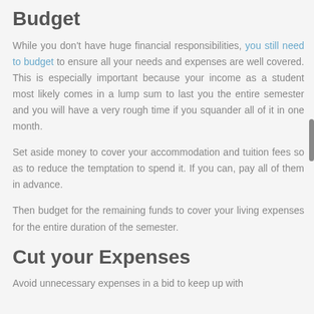Budget
While you don't have huge financial responsibilities, you still need to budget to ensure all your needs and expenses are well covered. This is especially important because your income as a student most likely comes in a lump sum to last you the entire semester and you will have a very rough time if you squander all of it in one month.
Set aside money to cover your accommodation and tuition fees so as to reduce the temptation to spend it. If you can, pay all of them in advance.
Then budget for the remaining funds to cover your living expenses for the entire duration of the semester.
Cut your Expenses
Avoid unnecessary expenses in a bid to keep up with